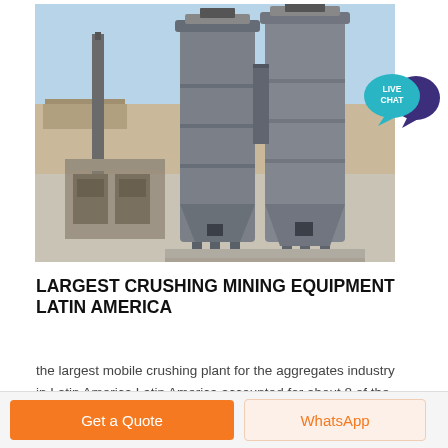[Figure (photo): Aerial view of large industrial crushing / aggregate silo equipment with two tall cylindrical grey silos on a concrete pad, open dry landscape in background.]
LARGEST CRUSHING MINING EQUIPMENT LATIN AMERICA
the largest mobile crushing plant for the aggregates industry in Latin America Latin America accounted for about 8 of the global mining equipment demand in ...